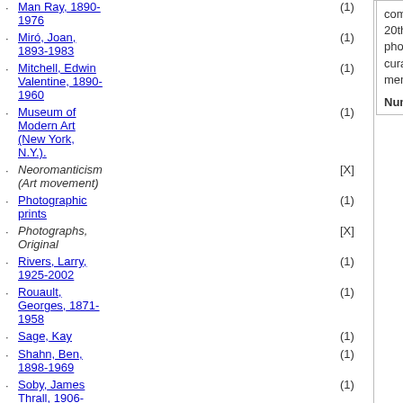Man Ray, 1890-1976 (1)
Miró, Joan, 1893-1983 (1)
Mitchell, Edwin Valentine, 1890-1960 (1)
Museum of Modern Art (New York, N.Y.). (1)
Neoromanticism (Art movement) [X]
Photographic prints (1)
Photographs, Original [X]
Rivers, Larry, 1925-2002 (1)
Rouault, Georges, 1871-1958 (1)
Sage, Kay (1)
Shahn, Ben, 1898-1969 (1)
Soby, James Thrall, 1906-1979 (1)
comprises correspondence from 20th-century artists and photographers, MoMA personnel, curators, critics, friends and family members.
Number: 910128